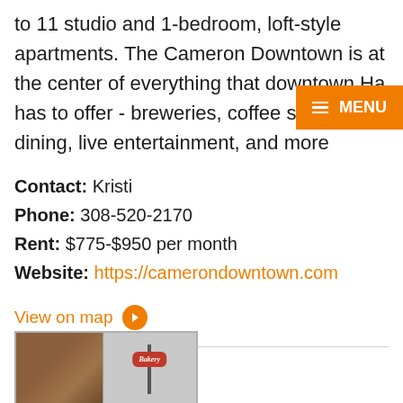to 11 studio and 1-bedroom, loft-style apartments. The Cameron Downtown is at the center of everything that downtown Ha has to offer - breweries, coffee shops, fine dining, live entertainment, and more
[Figure (screenshot): Orange navigation menu button in top right corner with hamburger icon and MENU text]
Contact: Kristi
Phone: 308-520-2170
Rent: $775-$950 per month
Website: https://camerondowntown.com
View on map
[Figure (photo): Photo of a brick building exterior on the left and a street sign post with a red oval bakery-style sign on the right]